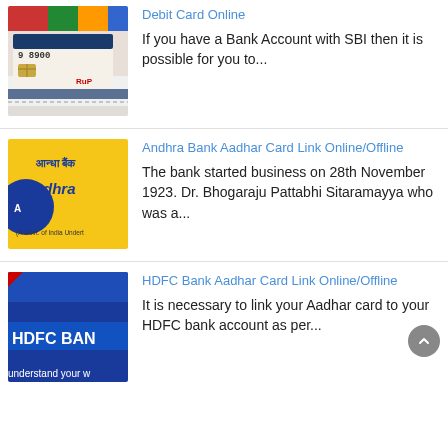[Figure (photo): SBI debit card image showing number 9 8900 and RuPay logo]
Debit Card Online
If you have a Bank Account with SBI then it is possible for you to...
[Figure (photo): Andhra Bank logo on yellow background with Hindi text and tagline 'Where (A Govt. of India Undert...)']
Andhra Bank Aadhar Card Link Online/Offline
The bank started business on 28th November 1923. Dr. Bhogaraju Pattabhi Sitaramayya who was a...
[Figure (photo): HDFC Bank logo on dark blue background with text 'understand your w...']
HDFC Bank Aadhar Card Link Online/Offline
It is necessary to link your Aadhar card to your HDFC bank account as per...